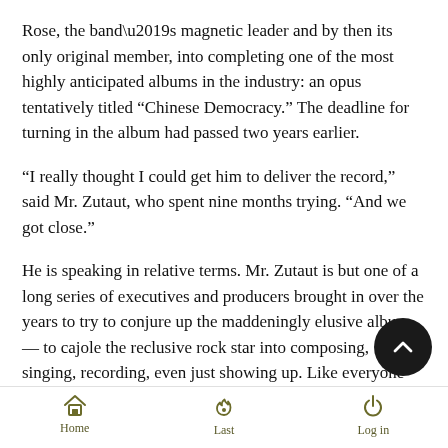Rose, the band’s magnetic leader and by then its only original member, into completing one of the most highly anticipated albums in the industry: an opus tentatively titled “Chinese Democracy.” The deadline for turning in the album had passed two years earlier.
“I really thought I could get him to deliver the record,” said Mr. Zutaut, who spent nine months trying. “And we got close.”
He is speaking in relative terms. Mr. Zutaut is but one of a long series of executives and producers brought in over the years to try to conjure up the maddeningly elusive album — to cajole the reclusive rock star into composing, singing, recording, even just showing up. Like everyone else who had tried, or has tried since, Mr. Zutaut came away empty-handed.
Mr. Rose began work on the album in 1994, recording in fits starts with an ever-changing roster of musicians, marching
Home  Last  Log in